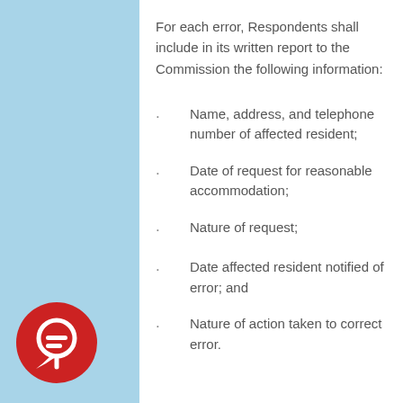For each error, Respondents shall include in its written report to the Commission the following information:
Name, address, and telephone number of affected resident;
Date of request for reasonable accommodation;
Nature of request;
Date affected resident notified of error; and
Nature of action taken to correct error.